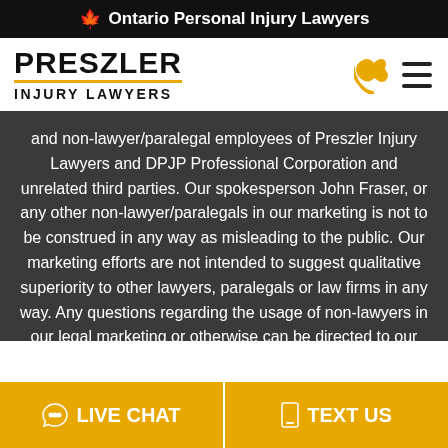🍁 Ontario Personal Injury Lawyers
PRESZLER INJURY LAWYERS
and non-lawyer/paralegal employees of Preszler Injury Lawyers and DPJP Professional Corporation and unrelated third parties. Our spokesperson John Fraser, or any other non-lawyer/paralegals in our marketing is not to be construed in any way as misleading to the public. Our marketing efforts are not intended to suggest qualitative superiority to other lawyers, paralegals or law firms in any way. Any questions regarding the usage of non-lawyers in our legal marketing or otherwise can be directed to our management team. Please also note that past results are not indicative of future results and that each case is unique. Please be advised that some of the content on this website may be out of date. None of the
LIVE CHAT
TEXT US